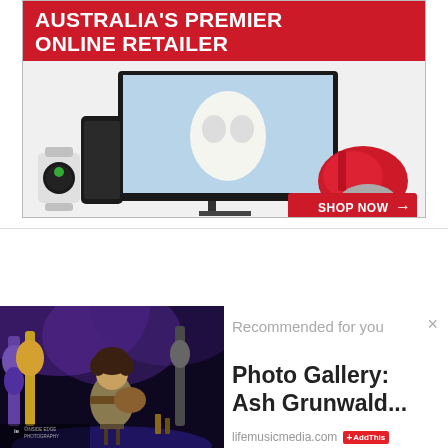[Figure (photo): Advertisement banner for Australia's Premier Online Retailer showing a TV with snowy owl on screen, Samsung phone, Apple Watch, red KitchenAid mixer, and a red SHOP NOW button with arrow]
[Figure (photo): Concert photo of Ash Grunwald performing on stage with multiple guitars in the background, purple stage lighting, with Inside Edge Photography watermark]
Recommended for you
Photo Gallery: Ash Grunwald...
lifemusicmedia.com  AddThis